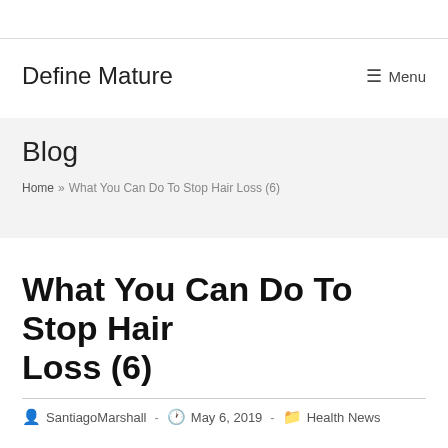Define Mature    ☰ Menu
Blog
Home » What You Can Do To Stop Hair Loss (6)
What You Can Do To Stop Hair Loss (6)
SantiagoMarshall · May 6, 2019 · Health News